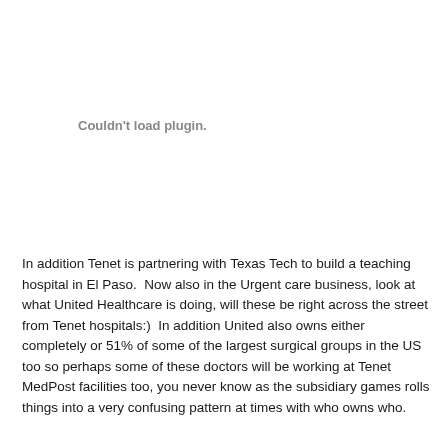[Figure (other): Plugin placeholder area showing 'Couldn't load plugin.' message]
In addition Tenet is partnering with Texas Tech to build a teaching hospital in El Paso.  Now also in the Urgent care business, look at what United Healthcare is doing, will these be right across the street from Tenet hospitals:)  In addition United also owns either completely or 51% of some of the largest surgical groups in the US too so perhaps some of these doctors will be working at Tenet MedPost facilities too, you never know as the subsidiary games rolls things into a very confusing pattern at times with who owns who.